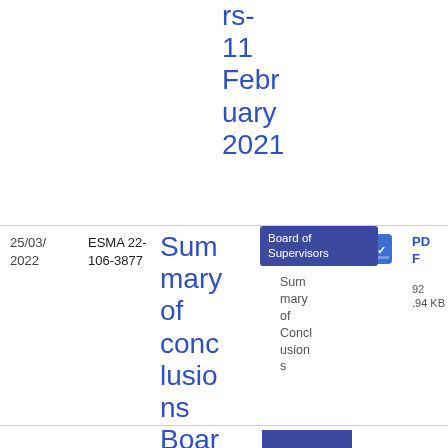rs-11 February 2021
| Date | Reference | Title | Committee | Type | File |
| --- | --- | --- | --- | --- | --- |
| 25/03/2022 | ESMA 22-106-3877 | Summary of conclusions Board of Supervisors-10 February 2022 | Board of Supervisors | Summary of Conclusions | PDF 92.94 KB |